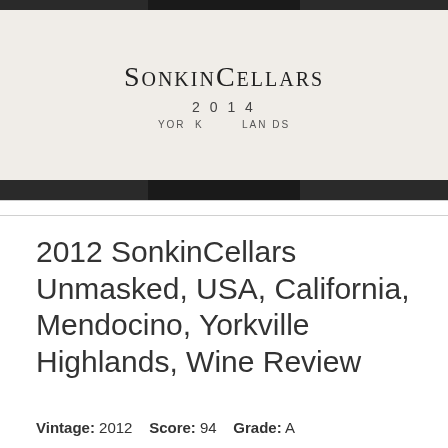[Figure (photo): Photo of a SonkinCellars wine bottle label showing 'SonkinCellars' in small caps, '2014' vintage year, and partial text 'Yorkville Highlands' against a dark background]
2012 SonkinCellars Unmasked, USA, California, Mendocino, Yorkville Highlands, Wine Review
Vintage: 2012   Score: 94   Grade: A
Current Price: $45.00USD
This vintage seemed so open at first but